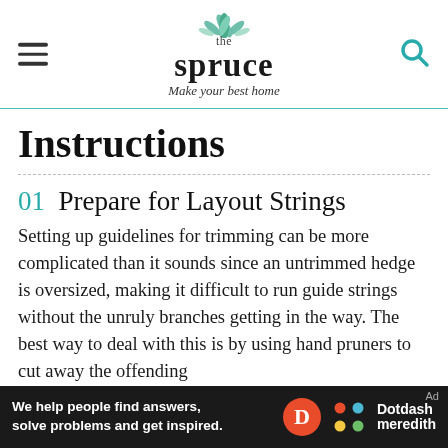the spruce — Make your best home
Instructions
01 Prepare for Layout Strings
Setting up guidelines for trimming can be more complicated than it sounds since an untrimmed hedge is oversized, making it difficult to run guide strings without the unruly branches getting in the way. The best way to deal with this is by using hand pruners to cut away the offending
[Figure (logo): Dotdash Meredith advertisement bar at bottom of page]